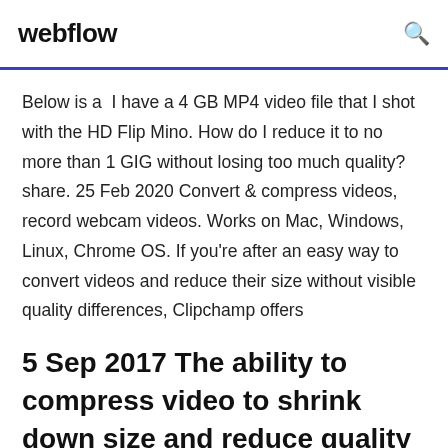webflow
Below is a  I have a 4 GB MP4 video file that I shot with the HD Flip Mino. How do I reduce it to no more than 1 GIG without losing too much quality? share. 25 Feb 2020 Convert & compress videos, record webcam videos. Works on Mac, Windows, Linux, Chrome OS. If you're after an easy way to convert videos and reduce their size without visible quality differences, Clipchamp offers
5 Sep 2017 The ability to compress video to shrink down size and reduce quality and iPad users can do this directly in iOS